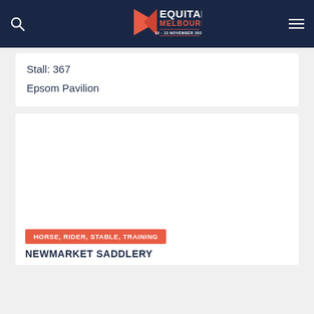Equitana Melbourne 10 - 13 November 2022
Stall: 367
Epsom Pavilion
[Figure (other): White blank exhibitor image area]
HORSE, RIDER, STABLE, TRAINING
NEWMARKET SADDLERY